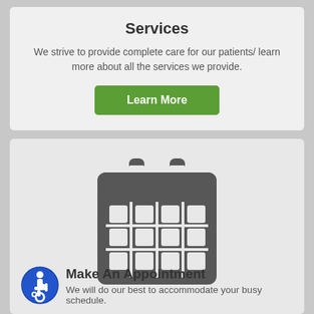Services
We strive to provide complete care for our patients/ learn more about all the services we provide.
[Figure (other): Green 'Learn More' button]
[Figure (illustration): Calendar icon in dark gray representing appointment scheduling]
Make An Appointment
We will do our best to accommodate your busy schedule.